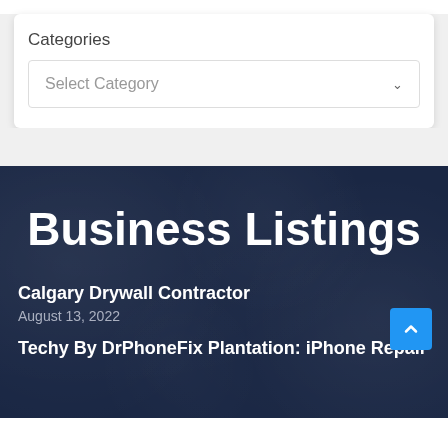Categories
Select Category
Business Listings
Calgary Drywall Contractor
August 13, 2022
Techy By DrPhoneFix Plantation: iPhone Repair